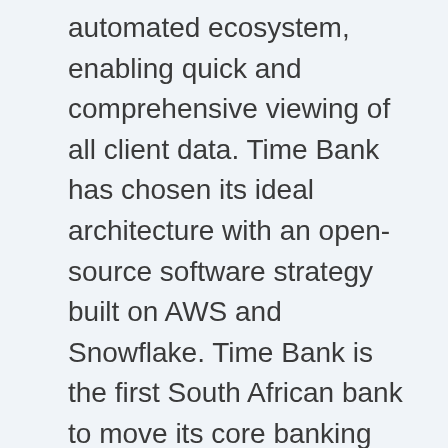automated ecosystem, enabling quick and comprehensive viewing of all client data. Time Bank has chosen its ideal architecture with an open-source software strategy built on AWS and Snowflake. Time Bank is the first South African bank to move its core banking platform to the cloud.